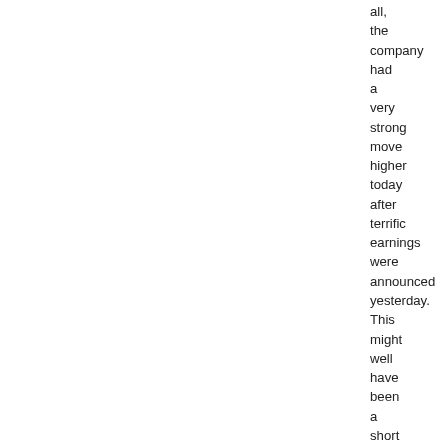all, the company had a very strong move higher today after terrific earnings were announced yesterday. This might well have been a short squeeze as the number of shares